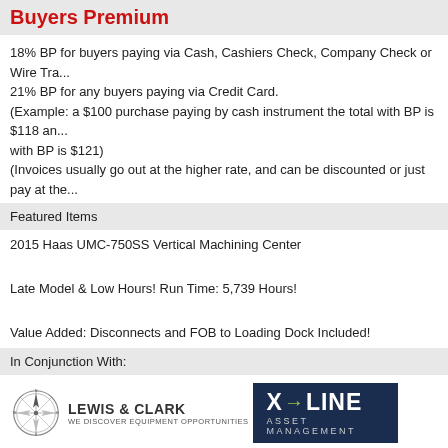Buyers Premium
18% BP for buyers paying via Cash, Cashiers Check, Company Check or Wire Transfer.
21% BP for any buyers paying via Credit Card.
(Example: a $100 purchase paying by cash instrument the total with BP is $118 and with BP is $121)
(Invoices usually go out at the higher rate, and can be discounted or just pay at the lower rate)
Featured Items
2015 Haas UMC-750SS Vertical Machining Center
Late Model & Low Hours! Run Time: 5,739 Hours!
Value Added: Disconnects and FOB to Loading Dock Included!
In Conjunction With:
[Figure (logo): Lewis & Clark logo (compass rose with 'Lewis & Clark - We Discover Equipment Opportunities') alongside X-Line Asset Management logo (dark navy background with white bold text 'X-LINE' and green arrow, subtitle 'ASSET MANAGEMENT')]
Return to Sales Calendar